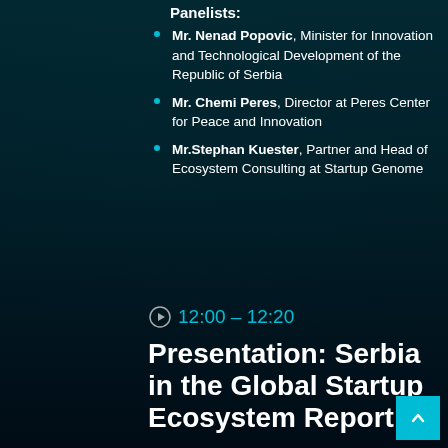Panelists:
Mr. Nenad Popovic, Minister for Innovation and Technological Development of the Republic of Serbia
Mr. Chemi Peres, Director at Peres Center for Peace and Innovation
Mr.Stephan Kuester, Partner and Head of Ecosystem Consulting at Startup Genome
12:00 – 12:20
Presentation: Serbia in the Global Startup Ecosystem Report